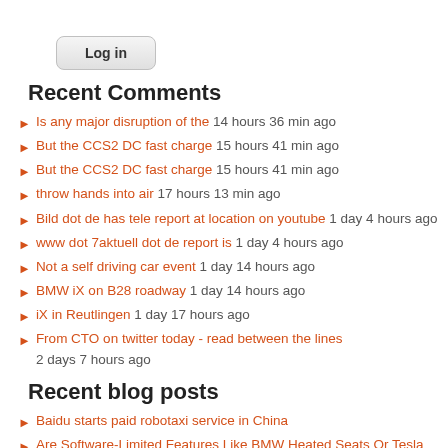[Figure (other): Log in button]
Recent Comments
Is any major disruption of the  14 hours 36 min ago
But the CCS2 DC fast charge  15 hours 41 min ago
But the CCS2 DC fast charge  15 hours 41 min ago
throw hands into air  17 hours 13 min ago
Bild dot de has tele report at location on youtube  1 day 4 hours ago
www dot 7aktuell dot de report is  1 day 4 hours ago
Not a self driving car event  1 day 14 hours ago
BMW iX on B28 roadway  1 day 14 hours ago
iX in Reutlingen  1 day 17 hours ago
From CTO on twitter today - read between the lines  2 days 7 hours ago
Recent blog posts
Baidu starts paid robotaxi service in China
Are Software-Limited Features Like BMW Heated Seats Or Tesla Limited Batteries Good For The Customer?
Custom Robotaxi from Baidu
Timeline of lost luggage at Heathrow